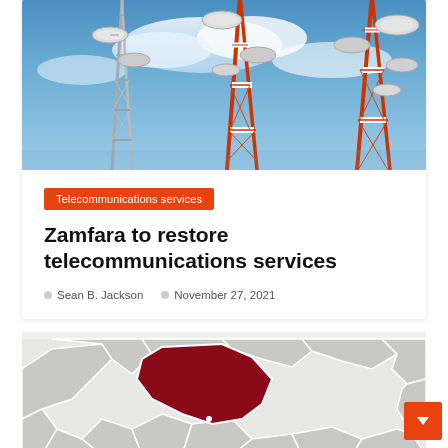[Figure (photo): Photograph of telecom antenna towers against a blue sky with clouds, viewed from below at an angle. Red and white metal lattice towers with satellite dishes.]
Telecommunications services
Zamfara to restore telecommunications services
Sean B. Jackson   November 27, 2021
[Figure (map): Map showing Nigerian states with one state (Zamfara) highlighted in dark red/maroon color, surrounded by grey outlines of neighboring states.]